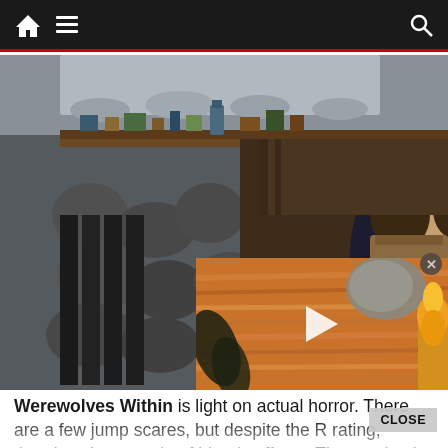Navigation bar with home icon, menu icon, and search icon
[Figure (screenshot): Screenshot of a website showing a movie still from Werewolves Within — a woman wearing a dark hat and turtleneck in front of a stone fireplace with shelves behind her. An overlapping video thumbnail shows fibrous orange/golden material with a play button, representing an autoplay video ad overlay. A close (X) button appears at the top right of the video thumbnail.]
Werewolves Within is light on actual horror. There are a few jump scares, but despite the R rating, there's only a couple of bloody effects. The emphasis is solidly on mystery and laughs rather than shocks. Even the final showdown, while